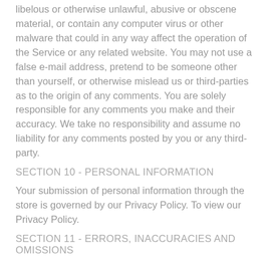libelous or otherwise unlawful, abusive or obscene material, or contain any computer virus or other malware that could in any way affect the operation of the Service or any related website. You may not use a false e-mail address, pretend to be someone other than yourself, or otherwise mislead us or third-parties as to the origin of any comments. You are solely responsible for any comments you make and their accuracy. We take no responsibility and assume no liability for any comments posted by you or any third-party.
SECTION 10 - PERSONAL INFORMATION
Your submission of personal information through the store is governed by our Privacy Policy. To view our Privacy Policy.
SECTION 11 - ERRORS, INACCURACIES AND OMISSIONS